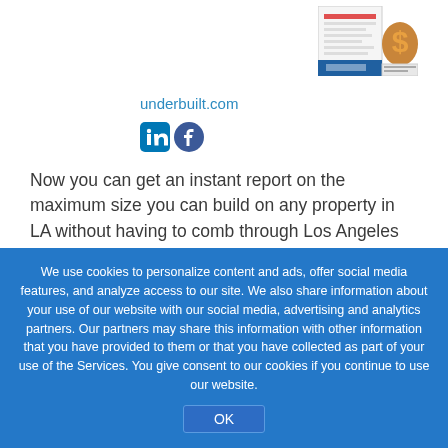[Figure (screenshot): Thumbnail screenshot of a report document with a dollar sign icon]
underbuilt.com
[Figure (logo): LinkedIn and Facebook social media icons]
Now you can get an instant report on the maximum size you can build on any property in LA without having to comb through Los Angeles County zoning code maps and paperwork. UnderBuild delivers a thorough, detailed report to you within seconds, using the tools on our website. Our service is affordable and reliable.
We use cookies to personalize content and ads, offer social media features, and analyze access to our site. We also share information about your use of our website with our social media, advertising and analytics partners. Our partners may share this information with other information that you have provided to them or that you have collected as part of your use of the Services. You give consent to our cookies if you continue to use our website.